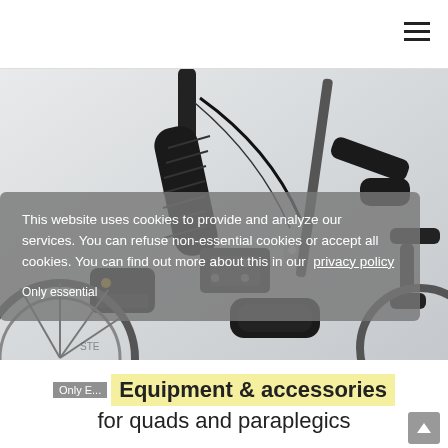[Figure (photo): Close-up photo of wheelchair/handcycle equipment showing handlebars, grips, cables, and arm supports against a light background.]
This website uses cookies to provide and analyze our services. You can refuse non-essential cookies or accept all cookies. You can find out more about this in our privacy policy
Equipment & accessories for quads and paraplegics